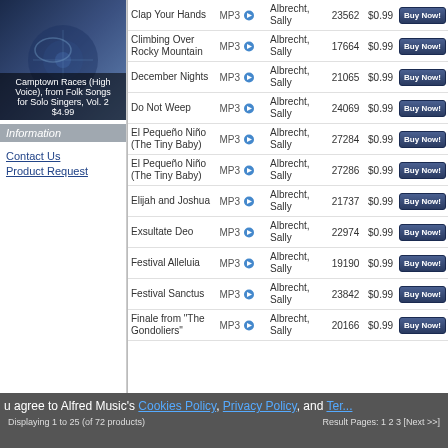[Figure (photo): Album cover image for 'Camptown Races (High Voice), from Folk Songs for Solo Singers, Vol. 2']
Camptown Races (High Voice), from Folk Songs for Solo Singers, Vol. 2
$4.99
Information
Contact Us
Product Request
| Name | Format | Artist | ID | Price | Action |
| --- | --- | --- | --- | --- | --- |
| Clap Your Hands | MP3 | Albrecht, Sally | 23562 | $0.99 | Buy Now! |
| Climbing Over Rocky Mountain | MP3 | Albrecht, Sally | 17664 | $0.99 | Buy Now! |
| December Nights | MP3 | Albrecht, Sally | 21065 | $0.99 | Buy Now! |
| Do Not Weep | MP3 | Albrecht, Sally | 24069 | $0.99 | Buy Now! |
| El Pequeño Niño (The Tiny Baby) | MP3 | Albrecht, Sally | 27284 | $0.99 | Buy Now! |
| El Pequeño Niño (The Tiny Baby) | MP3 | Albrecht, Sally | 27286 | $0.99 | Buy Now! |
| Elijah and Joshua | MP3 | Albrecht, Sally | 21737 | $0.99 | Buy Now! |
| Exsultate Deo | MP3 | Albrecht, Sally | 22974 | $0.99 | Buy Now! |
| Festival Alleluia | MP3 | Albrecht, Sally | 19190 | $0.99 | Buy Now! |
| Festival Sanctus | MP3 | Albrecht, Sally | 23842 | $0.99 | Buy Now! |
| Finale from "The Gondoliers" | MP3 | Albrecht, Sally | 20166 | $0.99 | Buy Now! |
You agree to Alfred Music's Cookies Policy, Privacy Policy, and Terms
Displaying 1 to 25 (of 72 products)
Result Pages: 1 2 3 [Next >>]